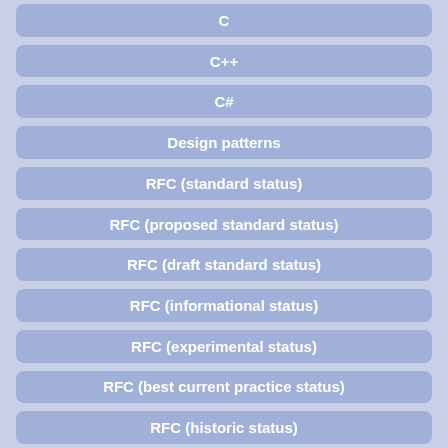C
C++
C#
Design patterns
RFC (standard status)
RFC (proposed standard status)
RFC (draft standard status)
RFC (informational status)
RFC (experimental status)
RFC (best current practice status)
RFC (historic status)